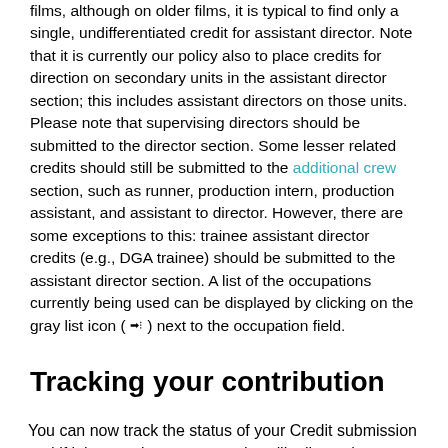films, although on older films, it is typical to find only a single, undifferentiated credit for assistant director. Note that it is currently our policy also to place credits for direction on secondary units in the assistant director section; this includes assistant directors on those units. Please note that supervising directors should be submitted to the director section. Some lesser related credits should still be submitted to the additional crew section, such as runner, production intern, production assistant, and assistant to director. However, there are some exceptions to this: trainee assistant director credits (e.g., DGA trainee) should be submitted to the assistant director section. A list of the occupations currently being used can be displayed by clicking on the gray list icon ( ) next to the occupation field.
Tracking your contribution
You can now track the status of your Credit submission and if it has not been approved, we'll tell you the reason why.
If you are using the mobile apps, mobile website or desktop